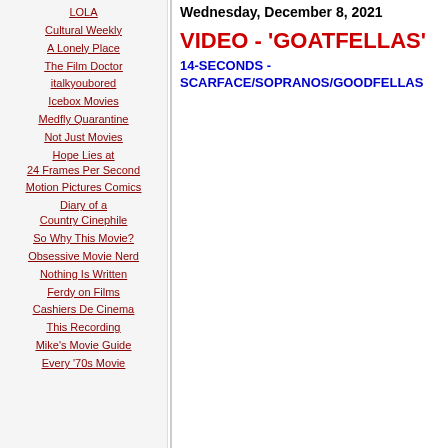LOLA
Cultural Weekly
A Lonely Place
The Film Doctor
italkyoubored
Icebox Movies
Medfly Quarantine
Not Just Movies
Hope Lies at 24 Frames Per Second
Motion Pictures Comics
Diary of a Country Cinephile
So Why This Movie?
Obsessive Movie Nerd
Nothing Is Written
Ferdy on Films
Cashiers De Cinema
This Recording
Mike's Movie Guide
Every '70s Movie
Wednesday, December 8, 2021
VIDEO - 'GOATFELLAS'
14-SECONDS - SCARFACE/SOPRANOS/GOODFELLAS